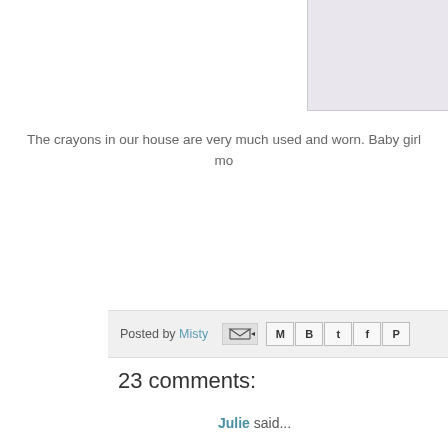[Figure (photo): Partially visible image with light lavender/gray background in upper right corner]
The crayons in our house are very much used and worn. Baby girl mo
Posted by Misty [share icons: email, Gmail, Blogger, Twitter, Facebook, Pinterest]
23 comments:
Julie said...